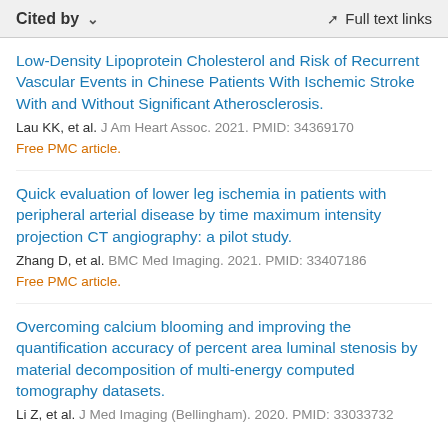Cited by   Full text links
Low-Density Lipoprotein Cholesterol and Risk of Recurrent Vascular Events in Chinese Patients With Ischemic Stroke With and Without Significant Atherosclerosis.
Lau KK, et al. J Am Heart Assoc. 2021. PMID: 34369170
Free PMC article.
Quick evaluation of lower leg ischemia in patients with peripheral arterial disease by time maximum intensity projection CT angiography: a pilot study.
Zhang D, et al. BMC Med Imaging. 2021. PMID: 33407186
Free PMC article.
Overcoming calcium blooming and improving the quantification accuracy of percent area luminal stenosis by material decomposition of multi-energy computed tomography datasets.
Li Z, et al. J Med Imaging (Bellingham). 2020. PMID: 33033732